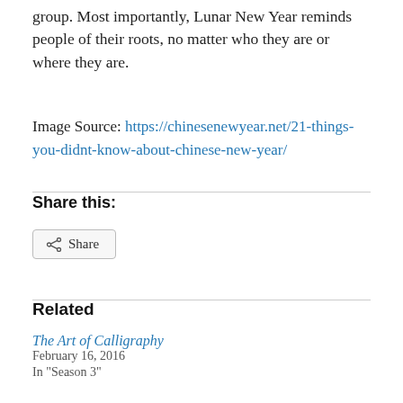group. Most importantly, Lunar New Year reminds people of their roots, no matter who they are or where they are.
Image Source: https://chinesenewyear.net/21-things-you-didnt-know-about-chinese-new-year/
Share this:
Share
Related
The Art of Calligraphy
February 16, 2016
In "Season 3"
A Preliminary Probe into the Impact of Confucianism on China